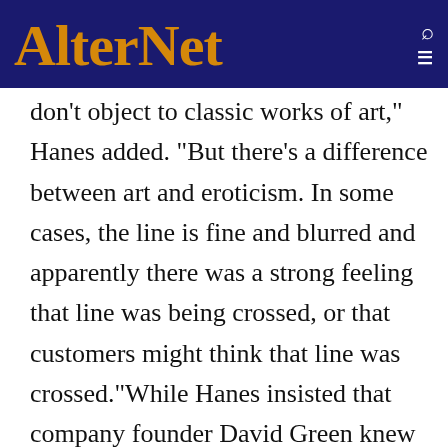AlterNet
don't object to classic works of art," Hanes added. "But there's a difference between art and eroticism. In some cases, the line is fine and blurred and apparently there was a strong feeling that line was being crossed, or that customers might think that line was crossed."While Hanes insisted that company founder David Green knew nothing of the policy, the store's history suggests the decals may also reflect a corporate religious agenda. Hobby Lobby's statement of purpose, for example, includes: "Honoring the Lord in all we